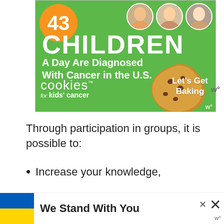[Figure (infographic): Cookies for Kids' Cancer advertisement on green background. Large number '43' in orange circle, heading 'CHILDREN A Day Are Diagnosed With Cancer in the U.S.', cookies for kids' cancer logo with cookie image and 'Let's Get Baking' text.]
Through participation in groups, it is possible to:
Increase your knowledge,
Broaden your network.
[Figure (infographic): Ukraine flag banner with 'We Stand With You' text and close buttons]